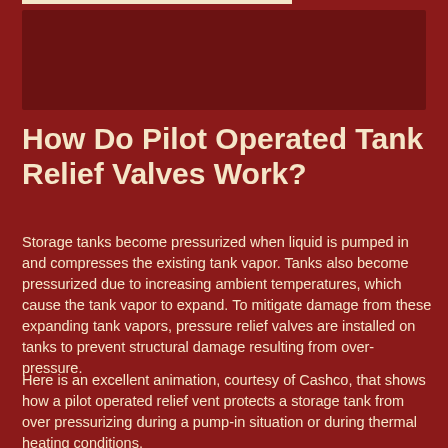[Figure (photo): Dark red header image area at top of page]
How Do Pilot Operated Tank Relief Valves Work?
Storage tanks become pressurized when liquid is pumped in and compresses the existing tank vapor. Tanks also become pressurized due to increasing ambient temperatures, which cause the tank vapor to expand. To mitigate damage from these expanding tank vapors, pressure relief valves are installed on tanks to prevent structural damage resulting from over-pressure.
Here is an excellent animation, courtesy of Cashco, that shows how a pilot operated relief vent protects a storage tank from over pressurizing during a pump-in situation or during thermal heating conditions.